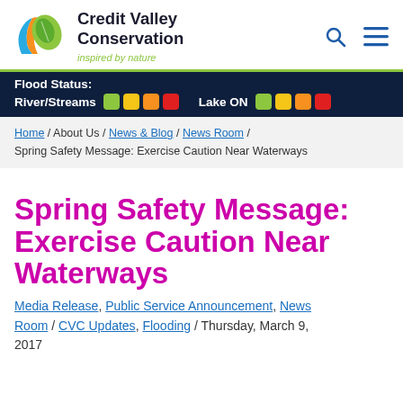Credit Valley Conservation — inspired by nature
Flood Status: River/Streams [green][yellow][orange][red]   Lake ON [green][yellow][orange][red]
Home / About Us / News & Blog / News Room / Spring Safety Message: Exercise Caution Near Waterways
Spring Safety Message: Exercise Caution Near Waterways
Media Release, Public Service Announcement, News Room / CVC Updates, Flooding / Thursday, March 9, 2017